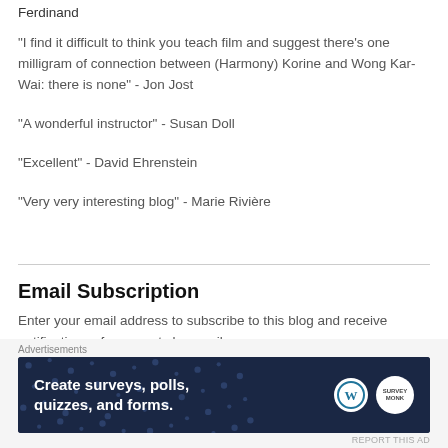Ferdinand
"I find it difficult to think you teach film and suggest there's one milligram of connection between (Harmony) Korine and Wong Kar-Wai: there is none" - Jon Jost
"A wonderful instructor" - Susan Doll
"Excellent" - David Ehrenstein
"Very very interesting blog" - Marie Rivière
Email Subscription
Enter your email address to subscribe to this blog and receive notifications of new posts by email.
[Figure (other): Advertisement banner: Create surveys, polls, quizzes, and forms. WordPress and SurveyMonkey logos on dark blue background with dot pattern.]